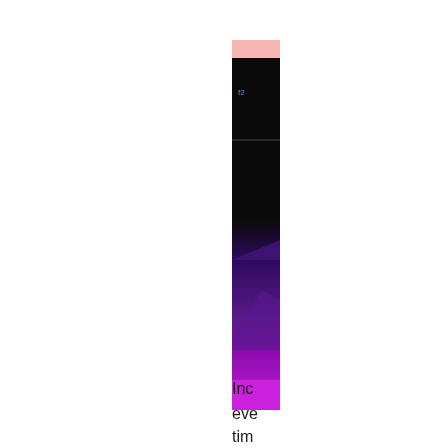[Figure (other): A vertical narrow bar/strip showing a color gradient from pink at the top, transitioning through black in the upper portion, then to dark purple in the middle, and bright magenta/purple at the bottom. Small blue text label visible near the top of the black section. The bar appears to be a partial view of a larger visualization, cropped at the right edge.]
Inc
eve
tim